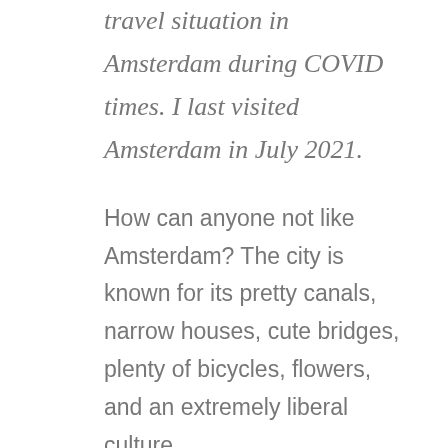travel situation in Amsterdam during COVID times. I last visited Amsterdam in July 2021.
How can anyone not like Amsterdam? The city is known for its pretty canals, narrow houses, cute bridges, plenty of bicycles, flowers, and an extremely liberal culture.
As per popular culture, is often portrayed as the city that’s gateway to Europe for many 20 and 30 something